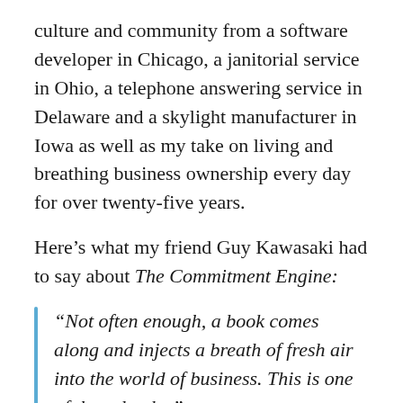culture and community from a software developer in Chicago, a janitorial service in Ohio, a telephone answering service in Delaware and a skylight manufacturer in Iowa as well as my take on living and breathing business ownership every day for over twenty-five years.
Here's what my friend Guy Kawasaki had to say about The Commitment Engine:
“Not often enough, a book comes along and injects a breath of fresh air into the world of business. This is one of those books.”
Want to get a taste? You can download the table of contents, Introduction and first chapter.